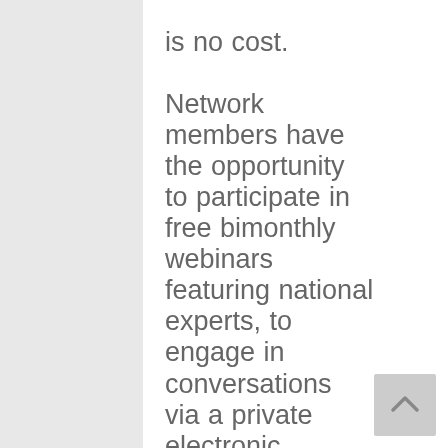is no cost. Network members have the opportunity to participate in free bimonthly webinars featuring national experts, to engage in conversations via a private electronic discussion group (listserv), and to sign up for our free e-